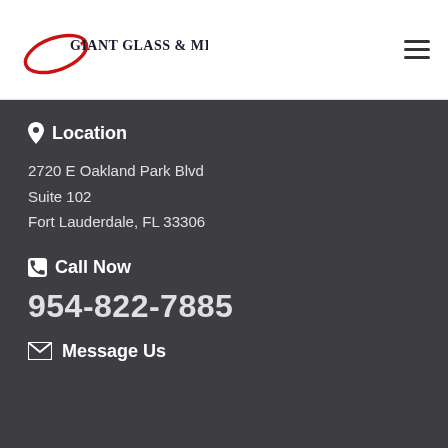[Figure (logo): Giant Glass & Mirror logo with red oval swoosh and company name in serif font]
📍 Location
2720 E Oakland Park Blvd
Suite 102
Fort Lauderdale, FL 33306
📞 Call Now
954-822-7885
✉ Message Us